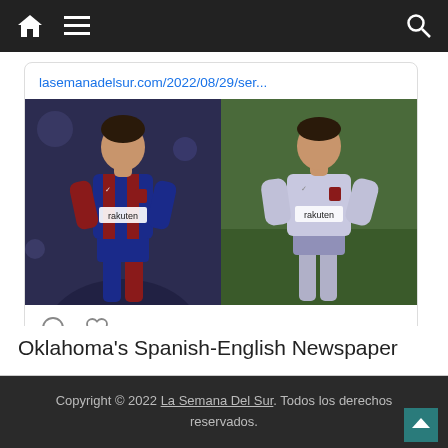Navigation bar with home, menu, and search icons
lasemanadelsur.com/2022/08/29/ser...
[Figure (photo): Two side-by-side photos of a Barcelona FC player (Sergiño Dest) wearing the team's red and blue striped jersey on the left, and a light grey/purple training kit on the right, both with Rakuten sponsor logo]
[Figure (other): Comment and heart/like icons below the photo card]
Oklahoma's Spanish-English Newspaper
Copyright © 2022 La Semana Del Sur. Todos los derechos reservados.